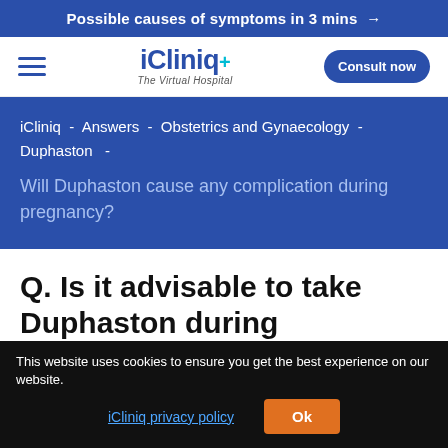Possible causes of symptoms in 3 mins →
[Figure (logo): iCliniq+ The Virtual Hospital logo with hamburger menu and Consult now button]
iCliniq  -  Answers  -  Obstetrics and Gynaecology  -  Duphaston  -
Will Duphaston cause any complication during pregnancy?
Q. Is it advisable to take Duphaston during pregnancy?
This website uses cookies to ensure you get the best experience on our website.
iCliniq privacy policy   Ok